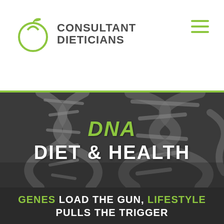[Figure (logo): Consultant Dieticians logo with apple icon and text]
[Figure (photo): Black and white close-up image of a DNA double helix structure with text overlay reading 'DNA DIET & HEALTH']
GENES LOAD THE GUN, LIFESTYLE PULLS THE TRIGGER